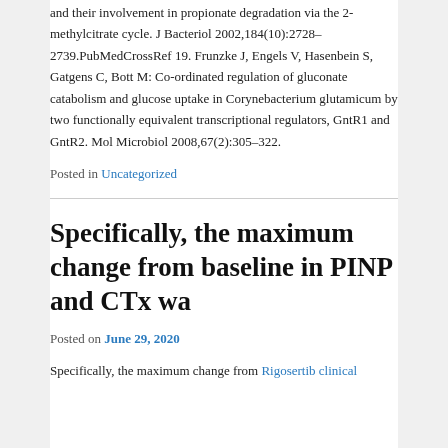and their involvement in propionate degradation via the 2-methylcitrate cycle. J Bacteriol 2002,184(10):2728–2739.PubMedCrossRef 19. Frunzke J, Engels V, Hasenbein S, Gatgens C, Bott M: Co-ordinated regulation of gluconate catabolism and glucose uptake in Corynebacterium glutamicum by two functionally equivalent transcriptional regulators, GntR1 and GntR2. Mol Microbiol 2008,67(2):305–322.
Posted in Uncategorized
Specifically, the maximum change from baseline in PINP and CTx wa
Posted on June 29, 2020
Specifically, the maximum change from Rigosertib clinical